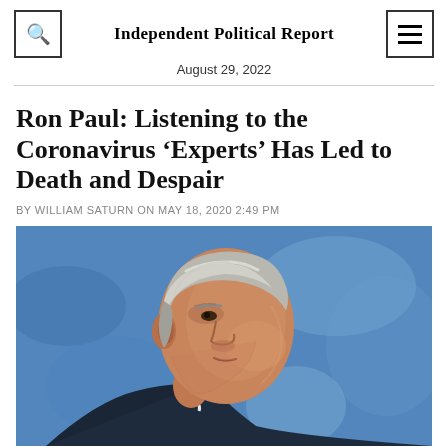Independent Political Report
August 29, 2022
Ron Paul: Listening to the Coronavirus ‘Experts’ Has Led to Death and Despair
BY WILLIAM SATURN ON MAY 18, 2020 2:49 PM
[Figure (illustration): Painted portrait of Ron Paul in profile view, facing right, with grey hair, against a blue painted background. Oil painting style.]